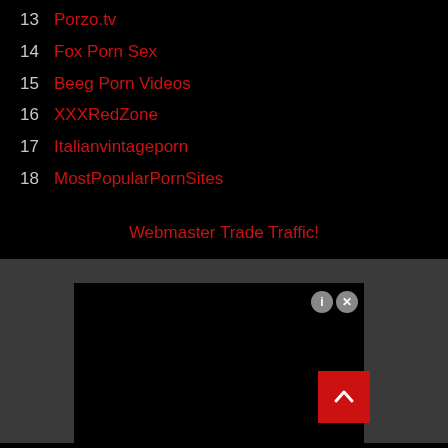13 Porzo.tv
14 Fox Porn Sex
15 Beeg Porn Videos
16 XXXRedZone
17 Italianvintageporn
18 MostPopularPornSites
Webmaster Trade Traffic!
[Figure (screenshot): Dark advertisement/video box with close and info buttons and a scroll-to-top red button]